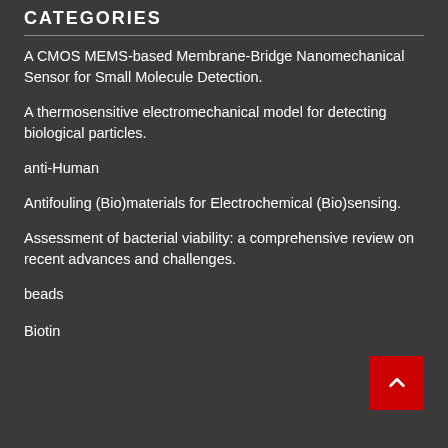CATEGORIES
A CMOS MEMS-based Membrane-Bridge Nanomechanical Sensor for Small Molecule Detection.
A thermosensitive electromechanical model for detecting biological particles.
anti-Human
Antifouling (Bio)materials for Electrochemical (Bio)sensing.
Assessment of bacterial viability: a comprehensive review on recent advances and challenges.
beads
Biotin